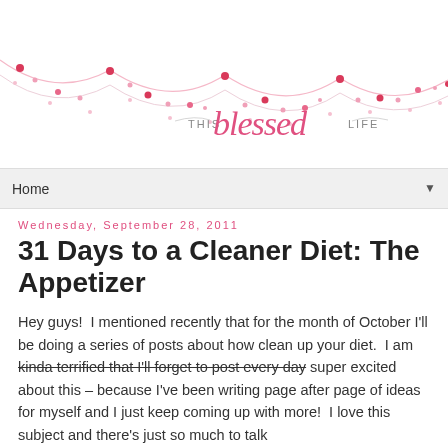[Figure (illustration): Blog header banner for 'This Blessed Life' with decorative garland/bunting illustration in pink and red dots on wavy string lines, with the blog title 'this blessed life' in cursive pink script with 'THIS' and 'LIFE' in small gray caps.]
Home ▼
Wednesday, September 28, 2011
31 Days to a Cleaner Diet: The Appetizer
Hey guys!  I mentioned recently that for the month of October I'll be doing a series of posts about how clean up your diet.  I am kinda terrified that I'll forget to post every day super excited about this – because I've been writing page after page of ideas for myself and I just keep coming up with more!  I love this subject and there's just so much to talk